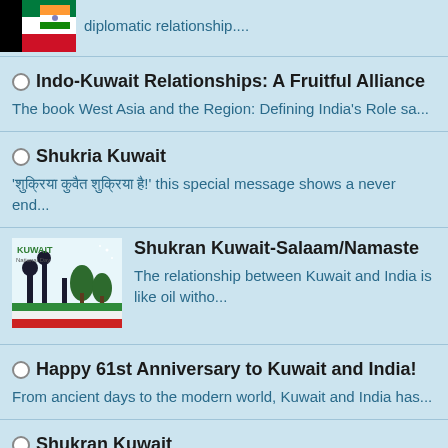diplomatic relationship....
Indo-Kuwait Relationships: A Fruitful Alliance
The book West Asia and the Region: Defining India's Role sa...
Shukria Kuwait
'शुक्रिया कुवैत शुक्रिया है!' this special message shows a never end...
[Figure (photo): Kuwait National Day illustration with skyline and flag colors]
Shukran Kuwait-Salaam/Namaste
The relationship between Kuwait and India is like oil witho...
Happy 61st Anniversary to Kuwait and India!
From ancient days to the modern world, Kuwait and India has...
Shukran Kuwait
Since I was born, I've been living in Kuwait. My parents